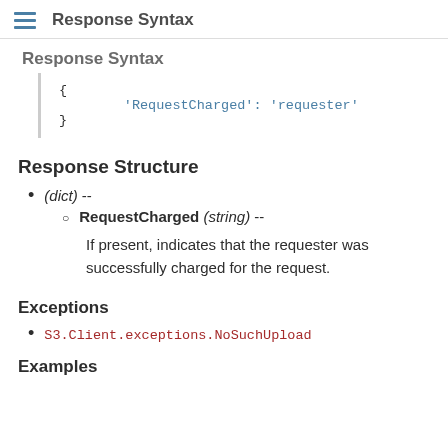Response Syntax
[Figure (other): Code block showing response syntax: { 'RequestCharged': 'requester' }]
Response Structure
(dict) --
RequestCharged (string) --
If present, indicates that the requester was successfully charged for the request.
Exceptions
S3.Client.exceptions.NoSuchUpload
Examples